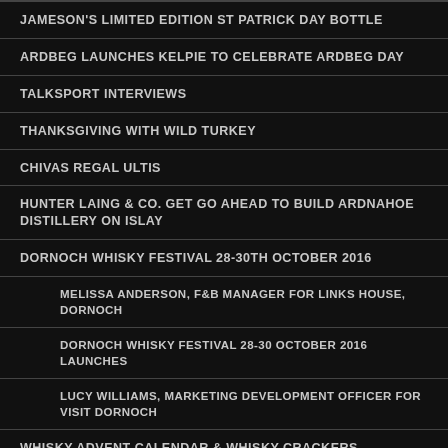JAMESON'S LIMITED EDITION ST PATRICK DAY BOTTLE
ARDBEG LAUNCHES KELPIE TO CELEBRATE ARDBEG DAY
TALKSPORT INTERVIEWS
THANKSGIVING WITH WILD TURKEY
CHIVAS REGAL ULTIS
HUNTER LAING & CO. GET GO AHEAD TO BUILD ARDNAHOE DISTILLERY ON ISLAY
DORNOCH WHISKY FESTIVAL 28-30TH OCTOBER 2016
MELISSA ANDERSON, F&B MANAGER FOR LINKS HOUSE, DORNOCH
DORNOCH WHISKY FESTIVAL 28-30 OCTOBER 2016 LAUNCHES
LUCY WILLIAMS, MARKETING DEVELOPMENT OFFICER FOR VISIT DORNOCH
WHISKY ADVENT CALENDAR & WHISKY CRACKERS